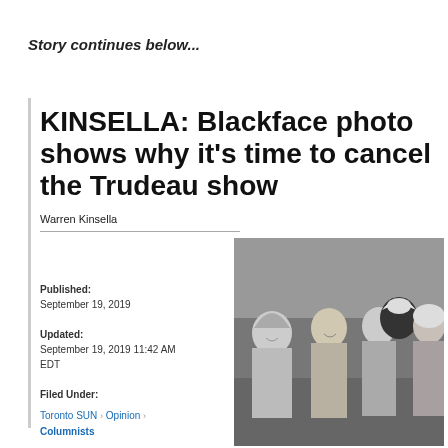Story continues below...
KINSELLA: Blackface photo shows why it's time to cancel the Trudeau show
Warren Kinsella
Published:
September 19, 2019

Updated:
September 19, 2019 11:42 AM EDT

Filed Under:
Toronto SUN > Opinion > Columnists
[Figure (photo): Black and white group photo of several people at what appears to be a party or event, including a person in blackface and costume.]